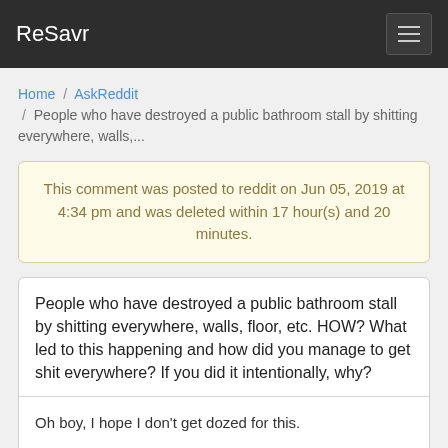ReSavr
Home / AskReddit / People who have destroyed a public bathroom stall by shitting everywhere, walls,...
This comment was posted to reddit on Jun 05, 2019 at 4:34 pm and was deleted within 17 hour(s) and 20 minutes.
People who have destroyed a public bathroom stall by shitting everywhere, walls, floor, etc. HOW? What led to this happening and how did you manage to get shit everywhere? If you did it intentionally, why?
Oh boy, I hope I don't get dozed for this.

I was on drugs and alcohol, so it's very blurry.